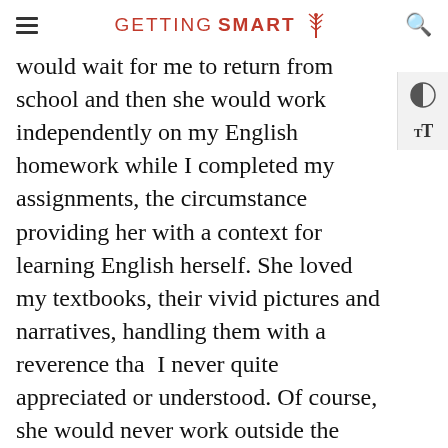GETTING SMART
would wait for me to return from school and then she would work independently on my English homework while I completed my assignments, the circumstance providing her with a context for learning English herself. She loved my textbooks, their vivid pictures and narratives, handling them with a reverence that I never quite appreciated or understood. Of course, she would never work outside the home and had no particular need to know English, factors which made her passion for learning especially poignant in retrospect when I remembered her in later years.
My own work today is thus driven by the memory of her unfulfilled yearning for